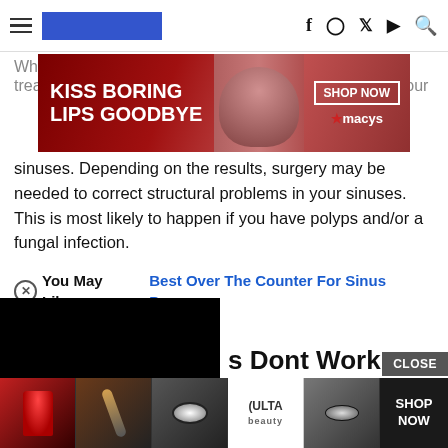Navigation bar with hamburger menu, logo, and social icons (Facebook, Instagram, Twitter, YouTube, Search)
[Figure (photo): Macy's lipstick advertisement banner: 'KISS BORING LIPS GOODBYE' with woman's red lips and 'SHOP NOW' button]
When sometimes… treatment… your sinuses. Depending on the results, surgery may be needed to correct structural problems in your sinuses. This is most likely to happen if you have polyps and/or a fungal infection.
You May Like:  Best Over The Counter For Sinus Pressure
[Figure (photo): Black video player block]
s Dont Work
curring sinus infections. If your sinus infection does not improve within five to seven days after you finish the whole course of antibiotics, or if you experience another sinus infection within a few weeks, you may be referred to an Ear, Nose, and Throat… or treatment…
[Figure (photo): Ulta Beauty advertisement banner at bottom with makeup images and SHOP NOW button]